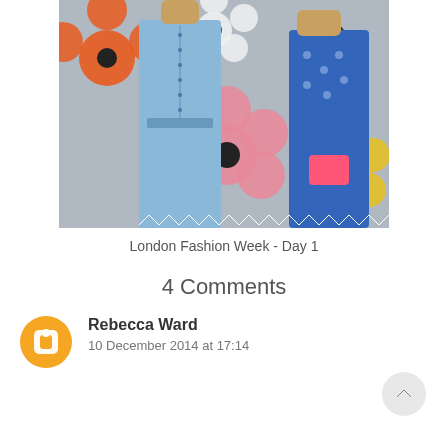[Figure (photo): Fashion photo from London Fashion Week showing two models, one in a light blue button-down dress and another in a blue patterned dress holding a pink bag, with large decorative flower props in the background]
London Fashion Week - Day 1
4 Comments
Rebecca Ward
10 December 2014 at 17:14